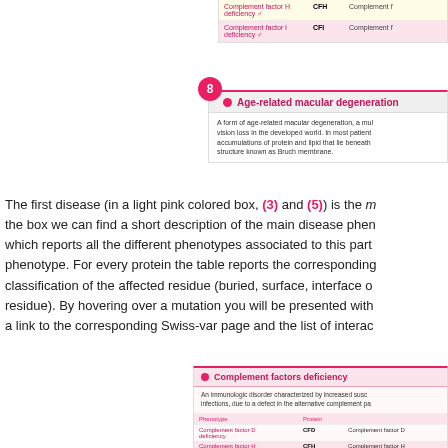[Figure (screenshot): Partial view of a table showing complement factor deficiency entries with columns for disease name, gene abbreviation, and protein name. Rows include Complement factor H deficiency (CFH) and Complement factor I deficiency (CFI) on yellow and pink backgrounds.]
[Figure (screenshot): Section 8 panel headed 'Age-related macular degeneration' with a pink dot and description text about a form of age-related macular degeneration causing vision loss in the developed world.]
The first disease (in a light pink colored box, (3) and (5)) is the main disease phenotype. Inside the box we can find a short description of the main disease phenotype, and a table which reports all the different phenotypes associated to this particular disease and to this phenotype. For every protein the table reports the corresponding gene name, and the classification of the affected residue (buried, surface, interface or active site residue). By hovering over a mutation you will be presented with a popup that contains a link to the corresponding Swiss-var page and the list of interac
[Figure (screenshot): Bottom panel showing 'Complement factors deficiency' section with description of immunologic disorder and a table with columns Phenotype, Protein, listing Complement factor D deficiency (CFD) and Complement factor H deficiency (CFH).]